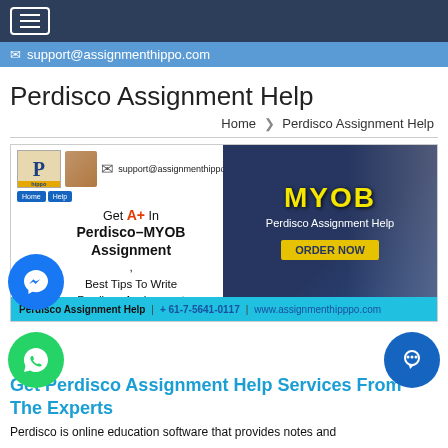Navigation bar with hamburger menu
✉ support@assignmenthippo.com
Perdisco Assignment Help
Home > Perdisco Assignment Help
[Figure (screenshot): Perdisco Assignment Help banner image featuring MYOB branding, 'Get A+ In Perdisco-MYOB Assignment, Best Tips To Write Perdisco Assignment', with contact info strip at bottom: Perdisco Assignment Help | +61-7-5641-0117 | www.assignmenthipppo.com]
Get Perdisco Assignment Help Services From The Experts
Perdisco is online education software that provides notes and